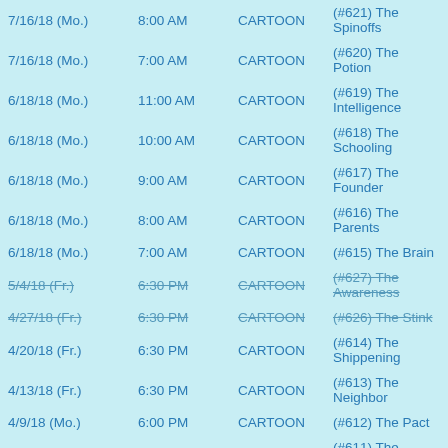| Date | Time | Type | Episode |
| --- | --- | --- | --- |
| 7/16/18 (Mo.) | 8:00 AM | CARTOON | (#621) The Spinoffs |
| 7/16/18 (Mo.) | 7:00 AM | CARTOON | (#620) The Potion |
| 6/18/18 (Mo.) | 11:00 AM | CARTOON | (#619) The Intelligence |
| 6/18/18 (Mo.) | 10:00 AM | CARTOON | (#618) The Schooling |
| 6/18/18 (Mo.) | 9:00 AM | CARTOON | (#617) The Founder |
| 6/18/18 (Mo.) | 8:00 AM | CARTOON | (#616) The Parents |
| 6/18/18 (Mo.) | 7:00 AM | CARTOON | (#615) The Brain |
| 5/4/18 (Fr.) [strikethrough] | 6:30 PM | CARTOON | (#627) The Awareness |
| 4/27/18 (Fr.) [strikethrough] | 6:30 PM | CARTOON | (#626) The Stink |
| 4/20/18 (Fr.) | 6:30 PM | CARTOON | (#614) The Shippening |
| 4/13/18 (Fr.) | 6:30 PM | CARTOON | (#613) The Neighbor |
| 4/9/18 (Mo.) | 6:00 PM | CARTOON | (#612) The Pact |
| 3/9/18 (Fr.) | 6:00 PM | CARTOON | (#611) The Anybody |
| 3/2/18 (Fr.) | 6:00 PM | CARTOON | (#610) The Candidate |
| 2/23/18 (Fr.) | 6:00 PM | CARTOON | (#609) The Faith |
| 2/9/18 (Fr.) | 6:00 PM | CARTOON | (#608) The Cage |
| 2/2/18 (Fr.) | 6:00 PM | CARTOON | (#607) The Cringe |
| 1/26/18 (Fr.) | 6:00 PM | CARTOON | (#606) The Father |